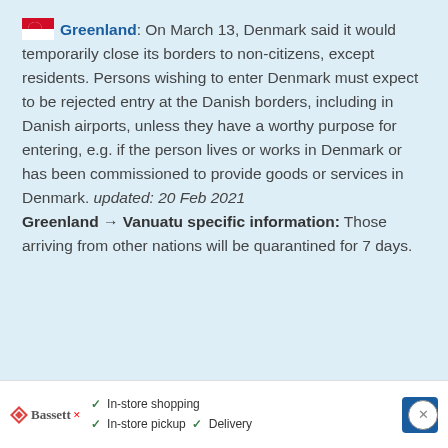Greenland: On March 13, Denmark said it would temporarily close its borders to non-citizens, except residents. Persons wishing to enter Denmark must expect to be rejected entry at the Danish borders, including in Danish airports, unless they have a worthy purpose for entering, e.g. if the person lives or works in Denmark or has been commissioned to provide goods or services in Denmark. updated: 20 Feb 2021
Greenland → Vanuatu specific information: Those arriving from other nations will be quarantined for 7 days.
In-store shopping  In-store pickup  Delivery